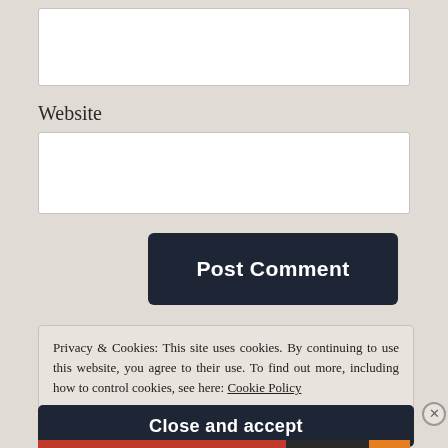[Figure (screenshot): Text input box (top, partially visible)]
Website
[Figure (screenshot): Website text input box (empty)]
[Figure (screenshot): Post Comment button (dark navy background, white bold text)]
Privacy & Cookies: This site uses cookies. By continuing to use this website, you agree to their use. To find out more, including how to control cookies, see here: Cookie Policy
[Figure (screenshot): Close and accept button (dark navy background, white bold text)]